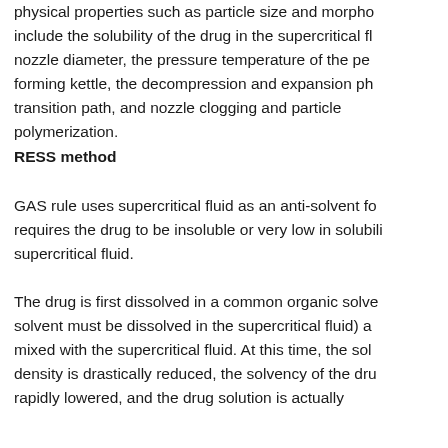physical properties such as particle size and morpho... include the solubility of the drug in the supercritical fl... nozzle diameter, the pressure temperature of the pe... forming kettle, the decompression and expansion ph... transition path, and nozzle clogging and particle polymerization.
RESS method
GAS rule uses supercritical fluid as an anti-solvent fo... requires the drug to be insoluble or very low in solubili... supercritical fluid.
The drug is first dissolved in a common organic solve... solvent must be dissolved in the supercritical fluid) a... mixed with the supercritical fluid. At this time, the sol... density is drastically reduced, the solvency of the dru... rapidly lowered, and the drug solution is actually